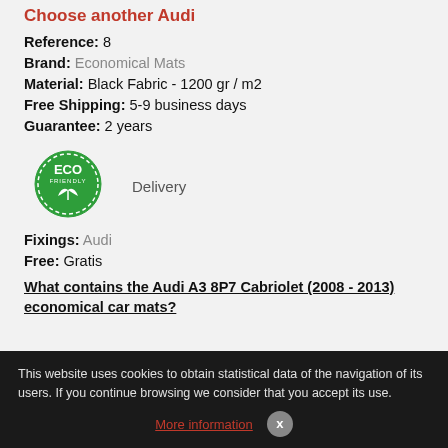Choose another Audi
Reference: 8
Brand: Economical Mats
Material: Black Fabric - 1200 gr / m2
Free Shipping: 5-9 business days
Guarantee: 2 years
[Figure (logo): ECO FRIENDLY green circular badge with leaf icon]
Delivery
Fixings: Audi
Free: Gratis
What contains the Audi A3 8P7 Cabriolet (2008 - 2013) economical car mats?
This website uses cookies to obtain statistical data of the navigation of its users. If you continue browsing we consider that you accept its use.
More information